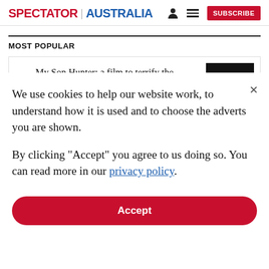SPECTATOR | AUSTRALIA
MOST POPULAR
1 My Son Hunter: a film to terrify the White House
We use cookies to help our website work, to understand how it is used and to choose the adverts you are shown.
By clicking "Accept" you agree to us doing so. You can read more in our privacy policy.
Accept